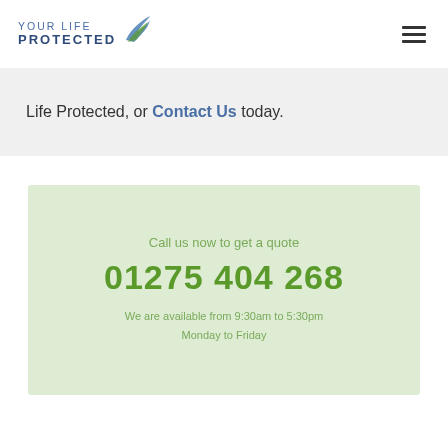YOUR LIFE PROTECTED
Life Protected, or Contact Us today.
Call us now to get a quote
01275 404 268
We are available from 9:30am to 5:30pm
Monday to Friday